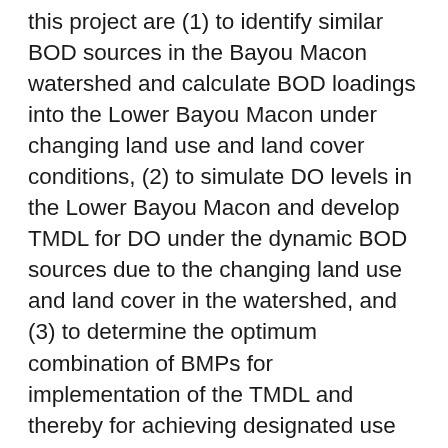this project are (1) to identify similar BOD sources in the Bayou Macon watershed and calculate BOD loadings into the Lower Bayou Macon under changing land use and land cover conditions, (2) to simulate DO levels in the Lower Bayou Macon and develop TMDL for DO under the dynamic BOD sources due to the changing land use and land cover in the watershed, and (3) to determine the optimum combination of BMPs for implementation of the TMDL and thereby for achieving designated use of the bayou under dynamic sources. The objectives will be addressed by integrated watershed and instream modeling using the VART DO-3L model developed by PI's research group and the watershed modeling tools HSPF (Hydrologic Simulation Programming-Fortran) model and SWAT (Soil & Water Assessment Tool) model. The approach consists of